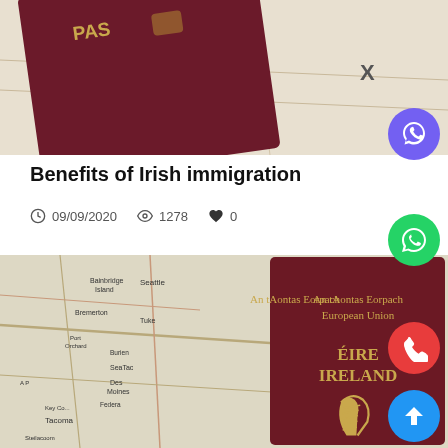[Figure (photo): Top portion of a passport and a map visible at the top of the page]
Benefits of Irish immigration
09/09/2020  1278  0
[Figure (photo): Irish passport (An tAontas Eorpach European Union, ÉIRE IRELAND) with a harp emblem, placed on a map of the Seattle/Tacoma area]